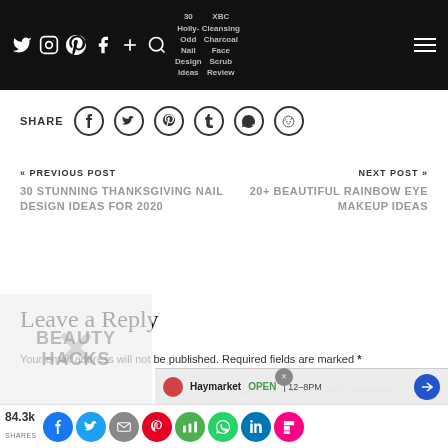30 Holly-Odd Nail Design Ideas | XBC Cleansing Charcoal Face Scrub Review
SHARE [social icons: Facebook, Twitter, Pinterest, Tumblr, WhatsApp, Reddit]
« PREVIOUS POST
30 STUNNING THANKSGIVING NAIL DESIGN IDEAS FOR 2020
NEXT POST »
20+ BEAUTIFUL RAINBOW EYE MAKEUP IDEAS
Leave a Reply
Your email address will not be published. Required fields are marked *
[Figure (screenshot): Video player overlay with text 'No compatible source was found for this media.' and Haymarket location bar showing OPEN 12-8PM]
84.3k SHARES [social share icons: Facebook, Twitter, Email, Pinterest, Mix, WhatsApp, LinkedIn, Flipboard]